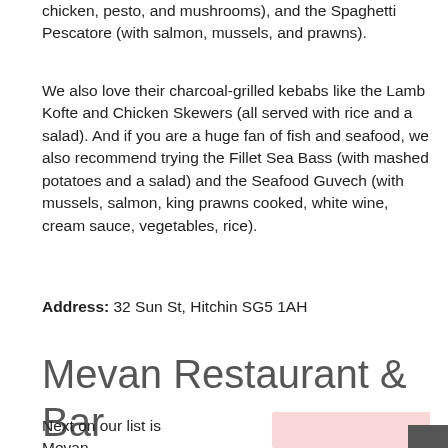chicken, pesto, and mushrooms), and the Spaghetti Pescatore (with salmon, mussels, and prawns).
We also love their charcoal-grilled kebabs like the Lamb Kofte and Chicken Skewers (all served with rice and a salad). And if you are a huge fan of fish and seafood, we also recommend trying the Fillet Sea Bass (with mashed potatoes and a salad) and the Seafood Guvech (with mussels, salmon, king prawns cooked, white wine, cream sauce, vegetables, rice).
Address: 32 Sun St, Hitchin SG5 1AH
Mevan Restaurant & Bar
Next on our list is Mevan –